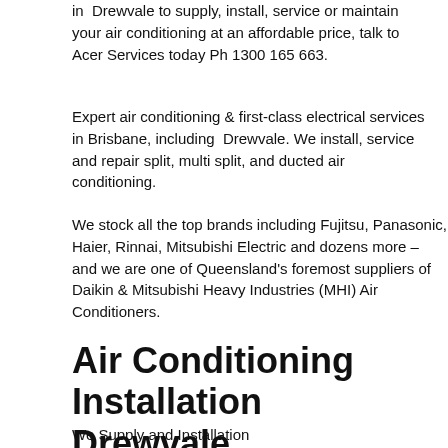in Drewvale to supply, install, service or maintain your air conditioning at an affordable price, talk to Acer Services today Ph 1300 165 663.
Expert air conditioning & first-class electrical services in Brisbane, including Drewvale. We install, service and repair split, multi split, and ducted air conditioning.
We stock all the top brands including Fujitsu, Panasonic, Haier, Rinnai, Mitsubishi Electric and dozens more – and we are one of Queensland's foremost suppliers of Daikin & Mitsubishi Heavy Industries (MHI) Air Conditioners.
Air Conditioning Installation  Drewvale
We Supply and Installation